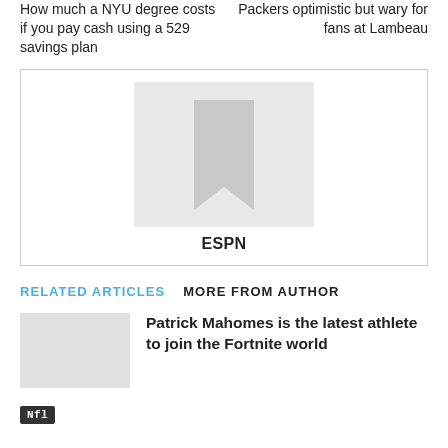How much a NYU degree costs if you pay cash using a 529 savings plan
Packers optimistic but wary for fans at Lambeau
[Figure (other): Advertisement placeholder box with a bookmark/flag icon silhouette centered, labeled ESPN below]
ESPN
RELATED ARTICLES   MORE FROM AUTHOR
Patrick Mahomes is the latest athlete to join the Fortnite world
Nfl